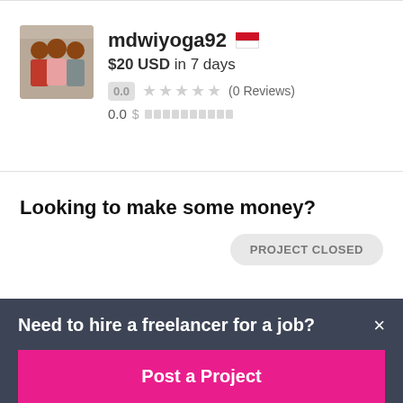[Figure (photo): Profile photo of a person standing with two others]
mdwiyoga92 🇮🇩
$20 USD in 7 days
0.0  ★★★★★ (0 Reviews)
0.0  $ ██████████
Looking to make some money?
PROJECT CLOSED
Need to hire a freelancer for a job?
Post a Project